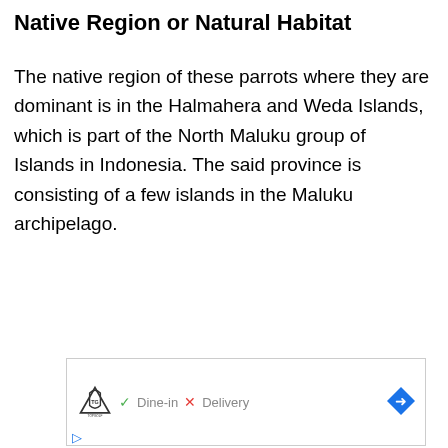Native Region or Natural Habitat
The native region of these parrots where they are dominant is in the Halmahera and Weda Islands, which is part of the North Maluku group of Islands in Indonesia. The said province is consisting of a few islands in the Maluku archipelago.
[Figure (other): Advertisement banner showing TopGolf logo with Dine-in check mark and Delivery X mark, with a blue diamond navigation arrow icon]